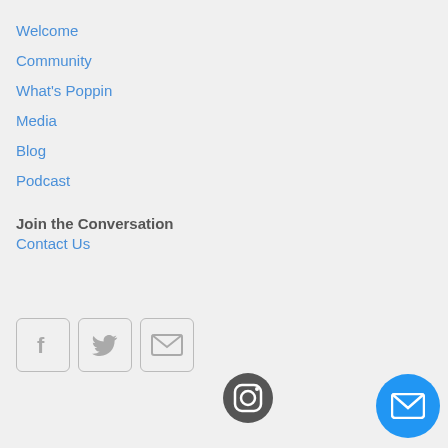Welcome
Community
What's Poppin
Media
Blog
Podcast
Join the Conversation
Contact Us
[Figure (infographic): Social media icons: Facebook, Twitter, Email in rounded square boxes; Instagram circle icon; Blue circular email FAB button]